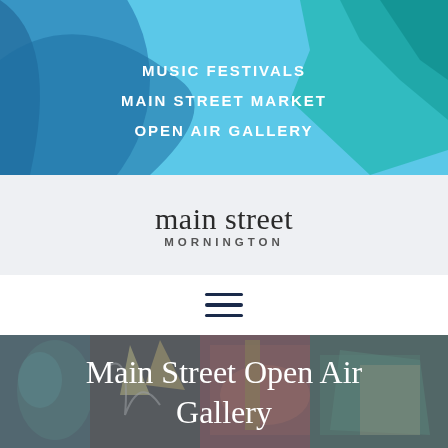MUSIC FESTIVALS
MAIN STREET MARKET
OPEN AIR GALLERY
[Figure (logo): Main Street Mornington logo with serif 'main street' and sans-serif 'MORNINGTON' subtitle]
[Figure (other): Hamburger menu icon with three horizontal dark navy lines]
[Figure (photo): Colorful street mural artwork with figures and abstract shapes, partially visible behind overlay]
Main Street Open Air Gallery